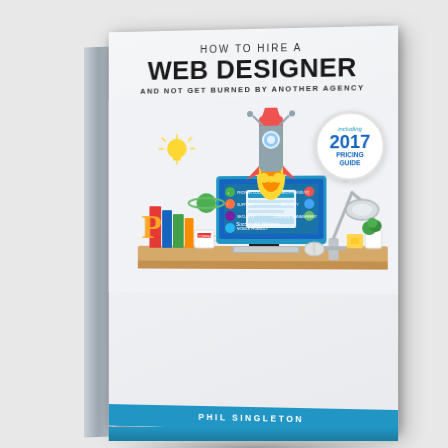[Figure (illustration): 3D book cover for 'How to Hire a Web Designer and Not Get Burned by Another Agency' by Phil Singleton, including 2017 Pricing Guide badge. The cover shows a rocket launching from a desktop computer on a desk scene with various web design icons. A circular badge reads 'including 2017 PRICING GUIDE'.]
HOW TO HIRE A WEB DESIGNER AND NOT GET BURNED BY ANOTHER AGENCY
including 2017 PRICING GUIDE
PHIL SINGLETON